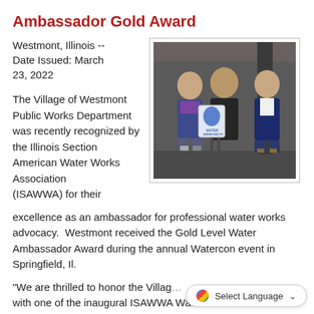Ambassador Gold Award
Westmont, Illinois -- Date Issued: March 23, 2022
[Figure (photo): Three men standing together indoors, the man in the center holding a blue and white Water Ambassador Award plaque/sign.]
The Village of Westmont Public Works Department was recently recognized by the Illinois Section American Water Works Association (ISAWWA) for their excellence as an ambassador for professional water works advocacy.  Westmont received the Gold Level Water Ambassador Award during the annual Watercon event in Springfield, Il.
“We are thrilled to honor the Villag… with one of the inaugural ISAWWA Water